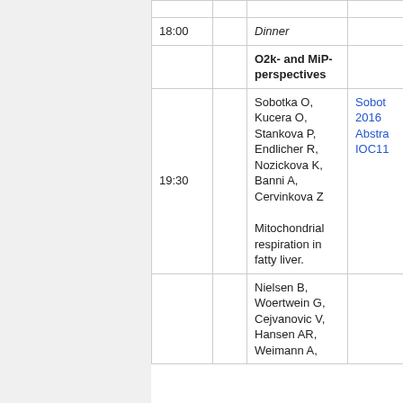| Time |  | Content | Reference |
| --- | --- | --- | --- |
| 18:00 |  | Dinner |  |
|  |  | O2k- and MiP-perspectives |  |
| 19:30 |  | Sobotka O, Kucera O, Stankova P, Endlicher R, Nozickova K, Banni A, Cervinkova Z

Mitochondrial respiration in fatty liver. | Sobot 2016 Abstra IOC11 |
|  |  | Nielsen B, Woertwein G, Cejvanovic V, Hansen AR, Weimann A, |  |